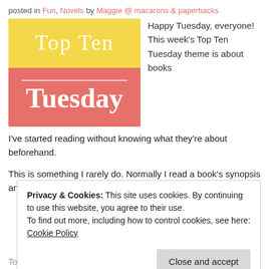posted in Fun, Novels by Maggie @ macarons & paperbacks
[Figure (illustration): Top Ten Tuesday logo graphic: yellow top half with 'Top Ten' in white serif font, coral/red bottom half with 'Tuesday' in large white bold serif font, separated by a thin white line]
Happy Tuesday, everyone! This week's Top Ten Tuesday theme is about books
I've started reading without knowing what they're about beforehand.
This is something I rarely do. Normally I read a book's synopsis and
Privacy & Cookies: This site uses cookies. By continuing to use this website, you agree to their use.
To find out more, including how to control cookies, see here: Cookie Policy
Close and accept
Top Ten Tuesday: Books Picked Up on a Whim